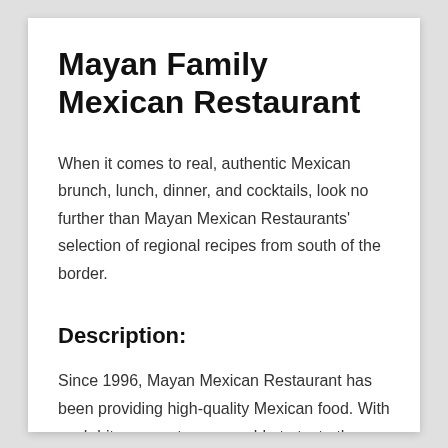Mayan Family Mexican Restaurant
When it comes to real, authentic Mexican brunch, lunch, dinner, and cocktails, look no further than Mayan Mexican Restaurants' selection of regional recipes from south of the border.
Description:
Since 1996, Mayan Mexican Restaurant has been providing high-quality Mexican food. With each bite, our patrons are able to taste the authentic Mexican cuisine. Our chefs and bartenders create unique Mexican flavors with every dish, cocktail and dessert that we make from scratch. Our mission has been